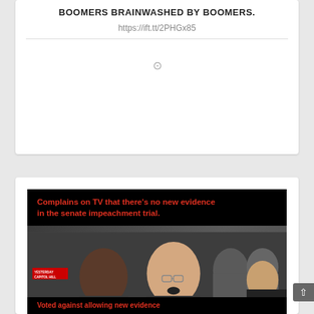BOOMERS BRAINWASHED BY BOOMERS.
https://ift.tt/2PHGx85
[Figure (screenshot): MSNBC TV screenshot showing Sen. John Barrasso (R) Wyoming at Capitol Hill, with meme text overlay: 'Complains on TV that there's no new evidence in the senate impeachment trial.' and partial text 'Voted against allowing new evidence' at bottom. Chyron reads 'THE IMPEACHMENT TRIAL of DONALD TRUMP'. Labeled LIVE.]
Voted against allowing new evidence